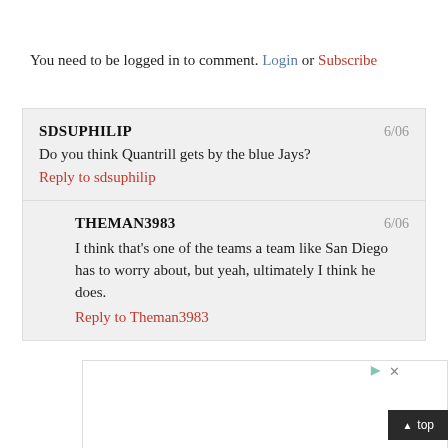You need to be logged in to comment. Login or Subscribe
SDSUPHILIP
6/06
Do you think Quantrill gets by the blue Jays?
Reply to sdsuphilip
THEMAN3983
6/06
I think that's one of the teams a team like San Diego has to worry about, but yeah, ultimately I think he does.
Reply to Theman3983
[Figure (screenshot): Advertisement box with play and close icons at top right, and a dark 'top' button at bottom right]